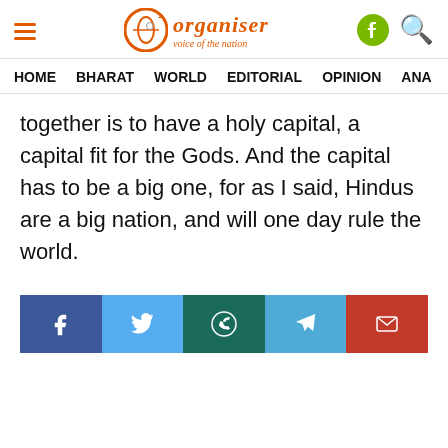Organiser - voice of the nation
HOME  BHARAT  WORLD  EDITORIAL  OPINION  ANA...
together is to have a holy capital, a capital fit for the Gods. And the capital has to be a big one, for as I said, Hindus are a big nation, and will one day rule the world.
[Figure (other): Social media share buttons: Facebook, Twitter, WhatsApp, Telegram, Email]